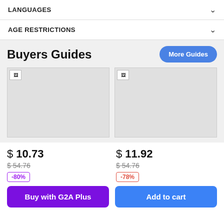LANGUAGES
AGE RESTRICTIONS
Buyers Guides
More Guides
[Figure (photo): First buyer guide image placeholder (gray box)]
[Figure (photo): Second buyer guide image placeholder (gray box)]
$ 10.73
$ 54.76
-80%
$ 11.92
$ 54.76
-78%
Buy with G2A Plus
Add to cart